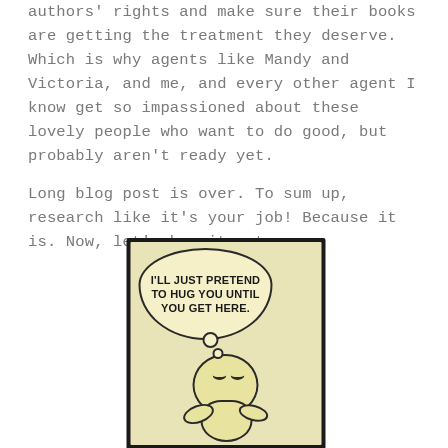authors' rights and make sure their books are getting the treatment they deserve. Which is why agents like Mandy and Victoria, and me, and every other agent I know get so impassioned about these lovely people who want to do good, but probably aren't ready yet.

Long blog post is over. To sum up, research like it's your job! Because it is. Now, let's hug it out.
[Figure (illustration): Cartoon illustration of a small round character with a thought bubble that reads 'I'LL JUST PRETEND TO HUG YOU UNTIL YOU GET HERE.' on a yellowed background with dark border.]